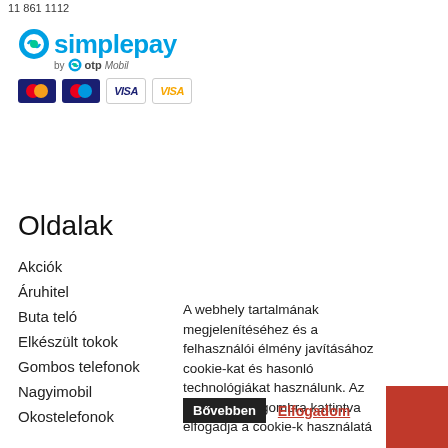11 861 1112
[Figure (logo): SimplePay by OTP Mobil logo with Mastercard, Maestro, and two VISA card logos below]
Oldalak
Akciók
Áruhitel
Buta teló
Elkészült tokok
Gombos telefonok
Nagyimobil
Okostelefonok
Olcsó telefon
Telefon akciók
Toknyomtatás
A webhely tartalmának megjelenítéséhez és a felhasználói élmény javításához cookie-kat és hasonló technológiákat használunk. Az "Elfogadom" gombra kattintva elfogadja a cookie-k használatá
Bővebben  Elfogadom